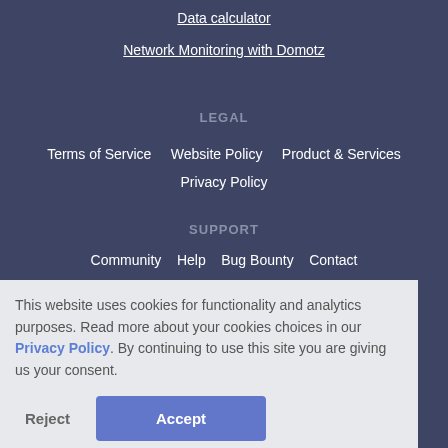Data calculator
Network Monitoring with Domotz
LEGAL
Terms of Service    Website Policy    Product & Services
Privacy Policy
SUPPORT
Community    Help    Bug Bounty    Contact
This website uses cookies for functionality and analytics purposes. Read more about your cookies choices in our Privacy Policy. By continuing to use this site you are giving us your consent.
Reject
Accept